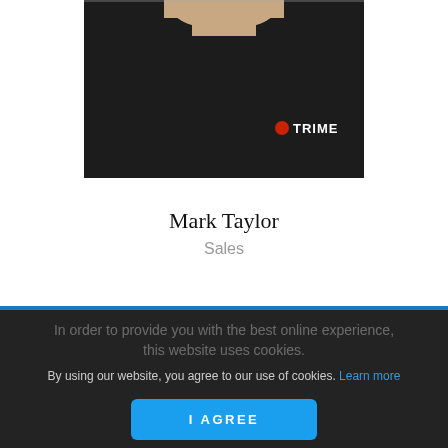[Figure (photo): Photo of Mark Taylor wearing a dark navy/black sweater with a TRIME logo (red circle and white text). The upper portion shows a light-colored collar. Background is white above the photo.]
Mark Taylor
Sales
In order to provide you with the best online experience, this website uses cookies.
By using our website, you agree to our use of cookies. Learn more
I AGREE